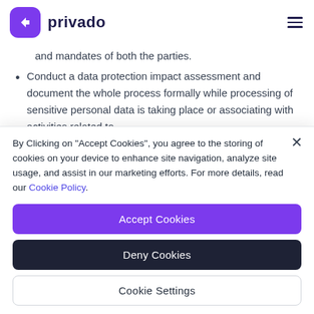privado
and mandates of both the parties.
Conduct a data protection impact assessment and document the whole process formally while processing of sensitive personal data is taking place or associating with activities related to
By Clicking on "Accept Cookies", you agree to the storing of cookies on your device to enhance site navigation, analyze site usage, and assist in our marketing efforts. For more details, read our Cookie Policy.
Accept Cookies
Deny Cookies
Cookie Settings